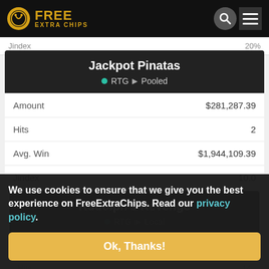FREE EXTRA CHIPS
Jindex | 20%
Jackpot Pinatas
RTG ▶ Pooled
| Field | Value |
| --- | --- |
| Amount | $281,287.39 |
| Hits | 2 |
| Avg. Win | $1,944,109.39 |
| Jindex | 10.0 |
Rudolph's Revenge
RTG ▶ Local
We use cookies to ensure that we give you the best experience on FreeExtraChips. Read our privacy policy.
Ok, Thanks!